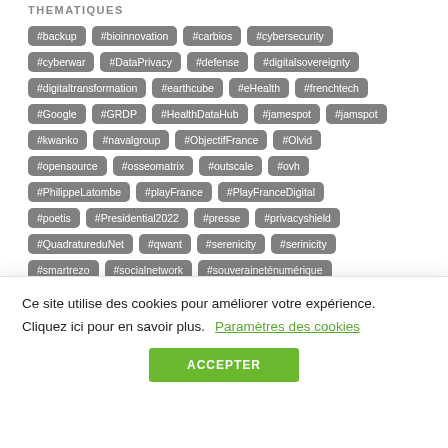THEMATIQUES
#backup #bioinnovation #carbios #cybersecurity #cyberwar #DataPrivacy #defense #digitalsovereignty #digitaltransformation #earthcube #eHealth #frenchtech #Google #GRDP #HealthDataHub #jamespot #jamspot #kwanko #navalgroup #ObjectifFrance #Olvid #opensource #osseomatrix #outscale #ovh #PhilippeLatombe #playFrance #PlayFranceDigital #poetis #Presidential2022 #presse #privacyshield #QuadratureduNet #qwant #serenicity #serinicity #smartrezo #socialnetwork #souveraineténumérique #sovereignty #StopBATX #stopgafam #strategy
Ce site utilise des cookies pour améliorer votre expérience. Cliquez ici pour en savoir plus. Paramètres des cookies
ACCEPTER